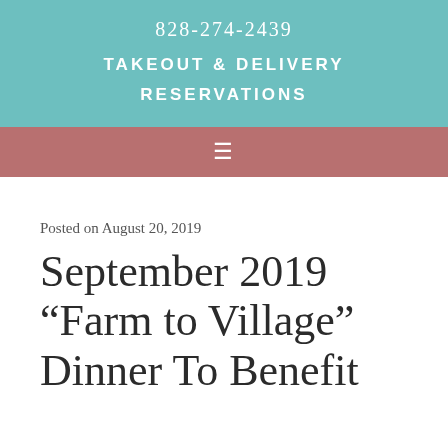828-274-2439
TAKEOUT & DELIVERY
RESERVATIONS
[Figure (other): Hamburger menu icon (three horizontal lines) on mauve/dusty rose background]
Posted on August 20, 2019
September 2019 “Farm to Village” Dinner To Benefit